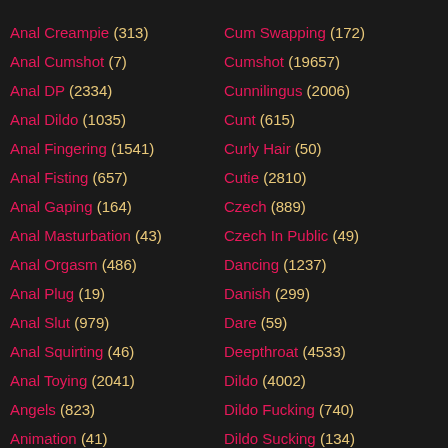Anal Creampie (313)
Anal Cumshot (7)
Anal DP (2334)
Anal Dildo (1035)
Anal Fingering (1541)
Anal Fisting (657)
Anal Gaping (164)
Anal Masturbation (43)
Anal Orgasm (486)
Anal Plug (19)
Anal Slut (979)
Anal Squirting (46)
Anal Toying (2041)
Angels (823)
Animation (41)
Cum Swapping (172)
Cumshot (19657)
Cunnilingus (2006)
Cunt (615)
Curly Hair (50)
Cutie (2810)
Czech (889)
Czech In Public (49)
Dancing (1237)
Danish (299)
Dare (59)
Deepthroat (4533)
Dildo (4002)
Dildo Fucking (740)
Dildo Sucking (134)